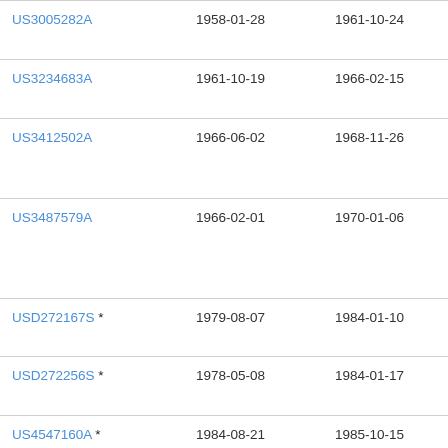| Patent Number | Filing Date | Publication Date | Assignee |
| --- | --- | --- | --- |
| US3005282A | 1958-01-28 | 1961-10-24 | Inte Ag |
| US3234683A | 1961-10-19 | 1966-02-15 | Inte Ag |
| US3412502A | 1966-06-02 | 1968-11-26 | Cla Ric |
| US3487579A | 1966-02-01 | 1970-01-06 | Da Bre |
| USD272167S * | 1979-08-07 | 1984-01-10 | Ka Co. |
| USD272256S * | 1978-05-08 | 1984-01-17 | Ka Co. |
| US4547160A * | 1984-08-21 | 1985-10-15 | Ric |